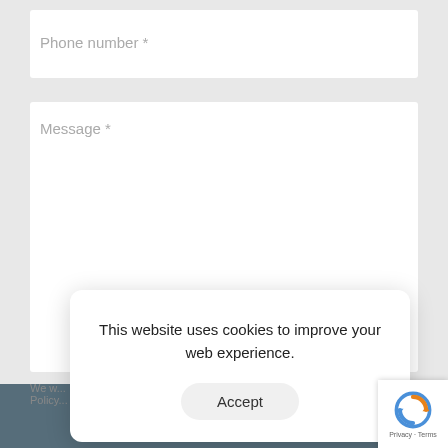Phone number *
Message *
SUBMIT
We w... Policy...
This website uses cookies to improve your web experience.
Accept
[Figure (logo): reCAPTCHA badge with circular arrow logo and Privacy - Terms text]